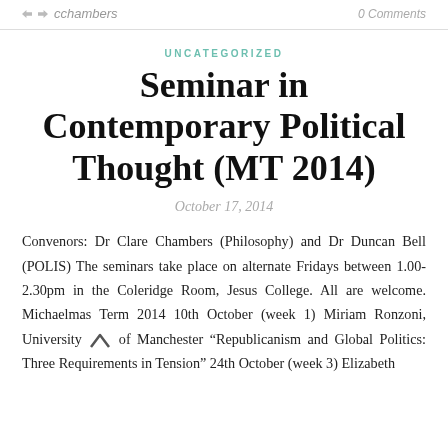cchambers   0 Comments
UNCATEGORIZED
Seminar in Contemporary Political Thought (MT 2014)
October 17, 2014
Convenors: Dr Clare Chambers (Philosophy) and Dr Duncan Bell (POLIS) The seminars take place on alternate Fridays between 1.00-2.30pm in the Coleridge Room, Jesus College. All are welcome. Michaelmas Term 2014 10th October (week 1) Miriam Ronzoni, University of Manchester “Republicanism and Global Politics: Three Requirements in Tension” 24th October (week 3) Elizabeth Frazer, University of Oxford “Reading Club...